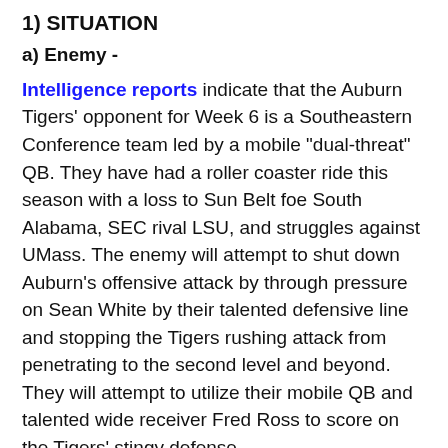1) SITUATION
a) Enemy -
Intelligence reports indicate that the Auburn Tigers' opponent for Week 6 is a Southeastern Conference team led by a mobile "dual-threat" QB. They have had a roller coaster ride this season with a loss to Sun Belt foe South Alabama, SEC rival LSU, and struggles against UMass. The enemy will attempt to shut down Auburn's offensive attack by through pressure on Sean White by their talented defensive line and stopping the Tigers rushing attack from penetrating to the second level and beyond. They will attempt to utilize their mobile QB and talented wide receiver Fred Ross to score on the Tigers' stingy defense.
b) Friendly -
(1) Higher Unit Mission Two Levels Up: No Change